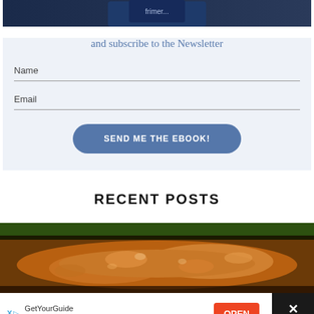[Figure (photo): Top portion of a dark blue book cover, partially visible at the top of the page]
and subscribe to the Newsletter
Name
Email
SEND ME THE EBOOK!
RECENT POSTS
[Figure (photo): Close-up photo of a dish with cooked food, appears to be a casserole or bean dish with glossy sauce, seen from above]
[Figure (other): Advertisement banner: GetYourGuide - Book now and pay later, with OPEN button and close button]